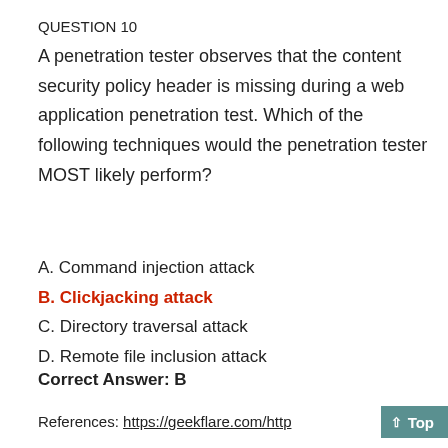QUESTION 10
A penetration tester observes that the content security policy header is missing during a web application penetration test. Which of the following techniques would the penetration tester MOST likely perform?
A. Command injection attack
B. Clickjacking attack
C. Directory traversal attack
D. Remote file inclusion attack
Correct Answer: B
References: https://geekflare.com/http